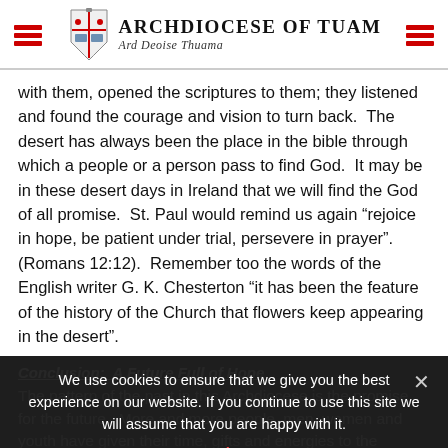Archdiocese of Tuam | Ard Deoise Thuama
with them, opened the scriptures to them; they listened and found the courage and vision to turn back.  The desert has always been the place in the bible through which a people or a person pass to find God.  It may be in these desert days in Ireland that we will find the God of all promise.  St. Paul would remind us again “rejoice in hope, be patient under trial, persevere in prayer”. (Romans 12:12).  Remember too the words of the English writer G. K. Chesterton “it has been the feature of the history of the Church that flowers keep appearing in the desert”.
Conclusion:  A Future Full of Hope
The pattern of the past in this Archdiocese is the promise for the future.  More and more people, men, women and youth have given their time, gifts and energies to the building up of
We use cookies to ensure that we give you the best experience on our website. If you continue to use this site we will assume that you are happy with it.